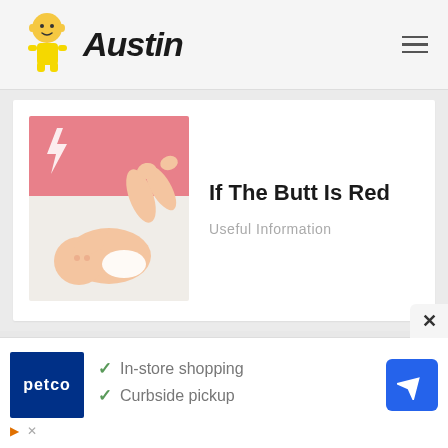Austin
[Figure (photo): Baby lying on back with feet up, partially covering face, on white blanket with pink background and lightning bolt icon]
If The Butt Is Red
Useful Information
[Figure (infographic): Advertisement: Petco logo with checkmarks for 'In-store shopping' and 'Curbside pickup', with navigation/directions icon on the right]